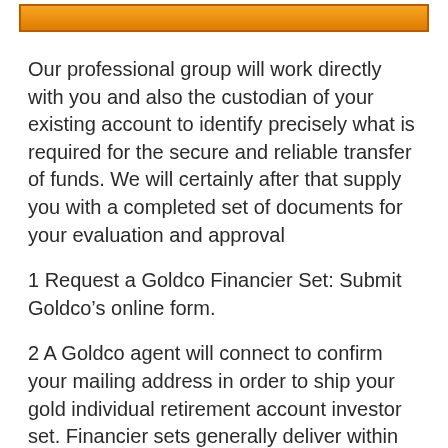[Figure (other): Orange gradient banner/button bar at the top of the page]
Our professional group will work directly with you and also the custodian of your existing account to identify precisely what is required for the secure and reliable transfer of funds. We will certainly after that supply you with a completed set of documents for your evaluation and approval
1 Request a Goldco Financier Set: Submit Goldco’s online form.
2 A Goldco agent will connect to confirm your mailing address in order to ship your gold individual retirement account investor set. Financier sets generally deliver within 2-3 organization days.